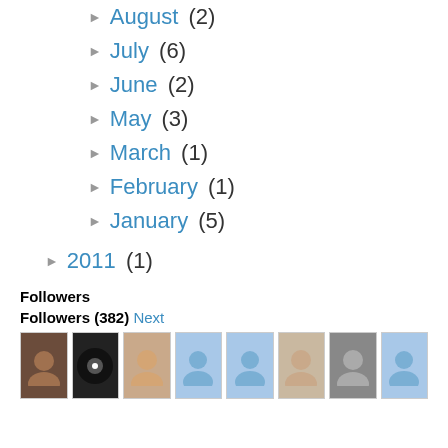August (2)
July (6)
June (2)
May (3)
March (1)
February (1)
January (5)
2011 (1)
Followers
Followers (382) Next
[Figure (photo): Row of 8 follower avatar images]